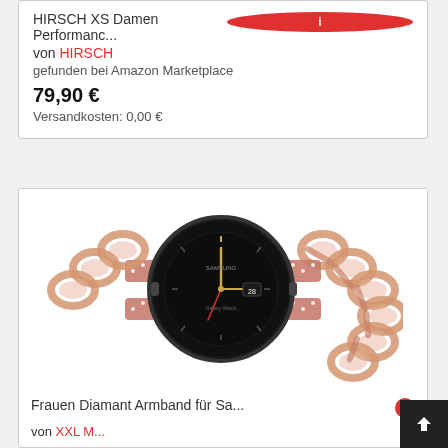HIRSCH XS Damen Performanc...
von HIRSCH
gefunden bei Amazon Marketplace
79,90 €
Versandkosten: 0,00 €
[Figure (photo): Product photo of a rose gold diamond-studded smartwatch band attached to a black Galaxy Watch. The band features an ornate chain-link design with rhinestone accents.]
Frauen Diamant Armband für Sa...
von XXL M...